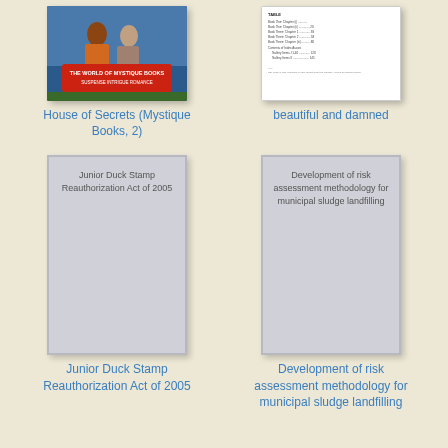[Figure (illustration): Book cover for 'House of Secrets (Mystique Books, 2)' showing two people and a red sign reading 'THE WORLD OF MYSTIQUE BOOKS SUSPENSE INTRIGUE ROMANCE']
House of Secrets (Mystique Books, 2)
[Figure (illustration): Book cover for 'beautiful and damned' showing a table of contents page with text]
beautiful and damned
[Figure (illustration): Book cover placeholder for 'Junior Duck Stamp Reauthorization Act of 2005' - plain gray cover with title text]
Junior Duck Stamp Reauthorization Act of 2005
[Figure (illustration): Book cover placeholder for 'Development of risk assessment methodology for municipal sludge landfilling' - plain gray cover with title text]
Development of risk assessment methodology for municipal sludge landfilling